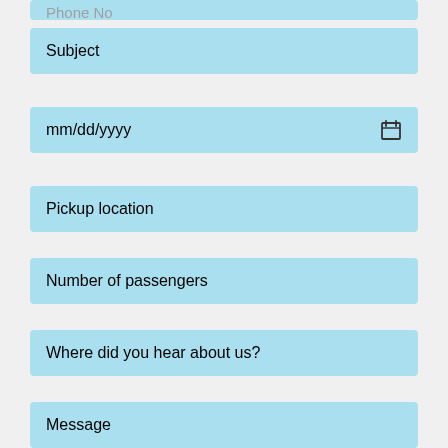Phone No
Subject
mm/dd/yyyy
Pickup location
Number of passengers
Where did you hear about us?
Message